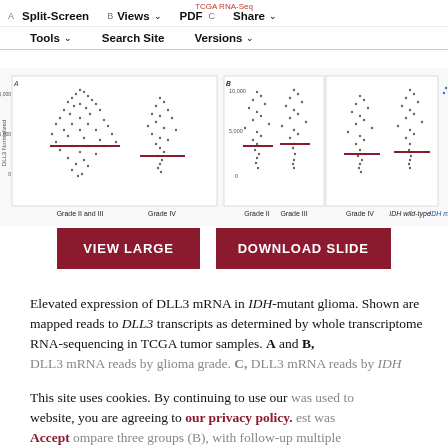TCGA RNA-Seq | Split-Screen | Views | PDF | Share | Tools | Search Site | Versions
[Figure (scatter-plot): DLL3 mRNA expression dot plots by glioma grade (Grade II and III, Grade IV, Grade II, Grade III, Grade IV) and IDH mutation status (IDH wild-type, IDH mutant), from TCGA RNA-seq data]
VIEW LARGE
DOWNLOAD SLIDE
Elevated expression of DLL3 mRNA in IDH-mutant glioma. Shown are mapped reads to DLL3 transcripts as determined by whole transcriptome RNA-sequencing in TCGA tumor samples. A and B, DLL3 mRNA reads by glioma grade. C, DLL3 mRNA reads by IDH
This site uses cookies. By continuing to use our website, you are agreeing to our privacy policy. Accept ompare three groups (B), with follow-up multiple comparison testing using Dunn method with false discovery rate adjustment.